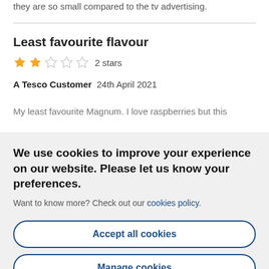they are so small compared to the tv advertising.
Least favourite flavour
[Figure (other): Star rating: 2 filled stars and 3 empty stars, labeled '2 stars']
A Tesco Customer  24th April 2021
My least favourite Magnum. I love raspberries but this
We use cookies to improve your experience on our website. Please let us know your preferences.
Want to know more? Check out our cookies policy.
Accept all cookies
Manage cookies